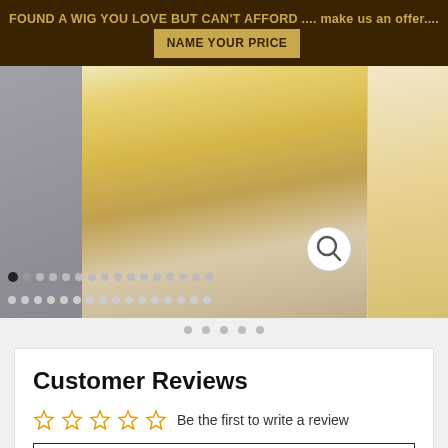FOUND A WIG YOU LOVE BUT CAN'T AFFORD .... make us an offer.... NAME YOUR PRICE
[Figure (photo): Woman wearing a long blonde wig and yellow ruffled top, shown from neck down. Image carousel with dot navigation below. Magnifier icon in lower right of image.]
Customer Reviews
Be the first to write a review
Write a review